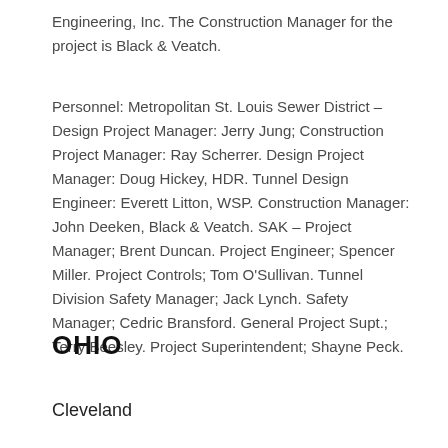Engineering, Inc. The Construction Manager for the project is Black & Veatch.
Personnel: Metropolitan St. Louis Sewer District – Design Project Manager: Jerry Jung; Construction Project Manager: Ray Scherrer. Design Project Manager: Doug Hickey, HDR. Tunnel Design Engineer: Everett Litton, WSP. Construction Manager: John Deeken, Black & Veatch. SAK – Project Manager; Brent Duncan. Project Engineer; Spencer Miller. Project Controls; Tom O'Sullivan. Tunnel Division Safety Manager; Jack Lynch. Safety Manager; Cedric Bransford. General Project Supt.; Terry Beesley. Project Superintendent; Shayne Peck.
OHIO
Cleveland